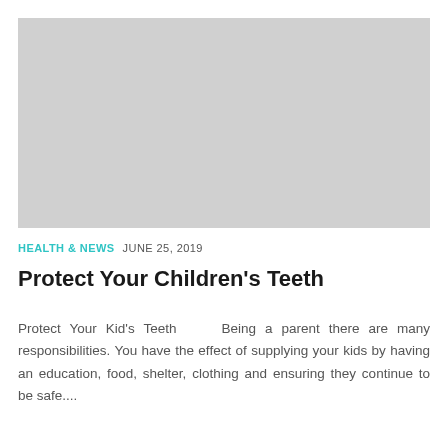[Figure (photo): Gray placeholder image for article photo]
HEALTH & NEWS  JUNE 25, 2019
Protect Your Children's Teeth
Protect Your Kid's Teeth    Being a parent there are many responsibilities. You have the effect of supplying your kids by having an education, food, shelter, clothing and ensuring they continue to be safe....